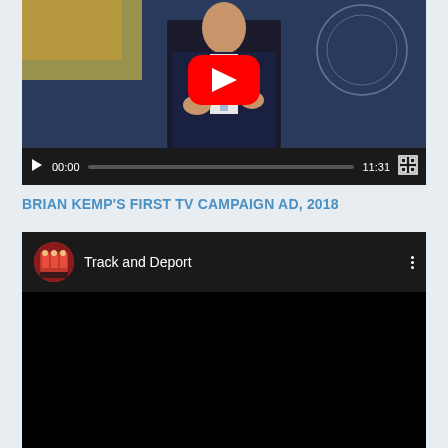[Figure (screenshot): YouTube video player showing a man in a dark suit with a light blue tie speaking, with a YouTube play button overlay. Video controls show 00:00 current time and 11:31 total duration.]
BRIAN KEMP'S FIRST TV CAMPAIGN AD, 2018
[Figure (screenshot): YouTube video player in dark mode showing 'Track and Deport' video title with a red/maroon channel thumbnail showing figures in red, and a three-dot menu button. The video content area is black.]